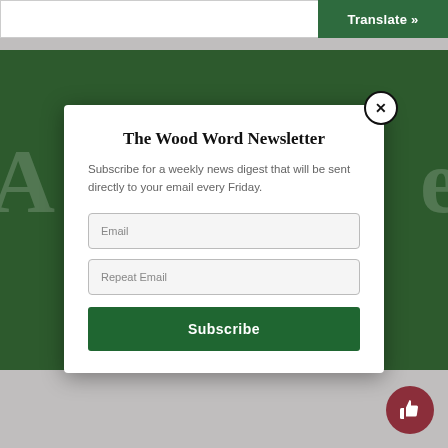[Figure (screenshot): Translate button in green on top right]
[Figure (screenshot): Newsletter signup modal popup over dark green background with Email and Repeat Email fields and Subscribe button]